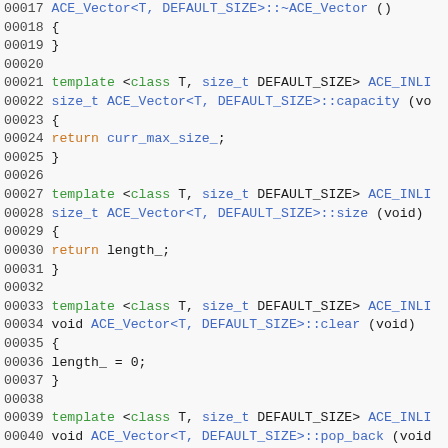[Figure (screenshot): Source code listing showing C++ template methods for ACE_Vector class, lines 00017-00046, with syntax highlighting: line numbers in dark gray, keywords/types in blue, control flow in orange, identifiers in black.]